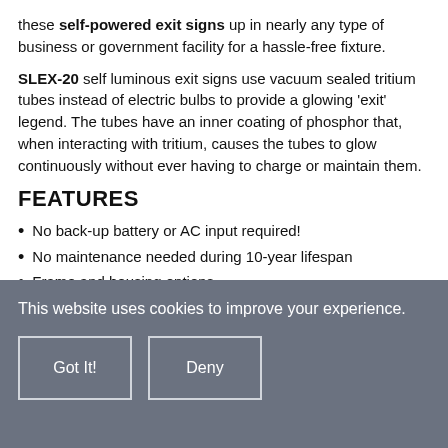these self-powered exit signs up in nearly any type of business or government facility for a hassle-free fixture.
SLEX-20 self luminous exit signs use vacuum sealed tritium tubes instead of electric bulbs to provide a glowing 'exit' legend. The tubes have an inner coating of phosphor that, when interacting with tritium, causes the tubes to glow continuously without ever having to charge or maintain them.
FEATURES
No back-up battery or AC input required!
No maintenance needed during 10-year lifespan
Frame and housing options
10-year warranty
UL 924 listed for Wet Locations
This website uses cookies to improve your experience.